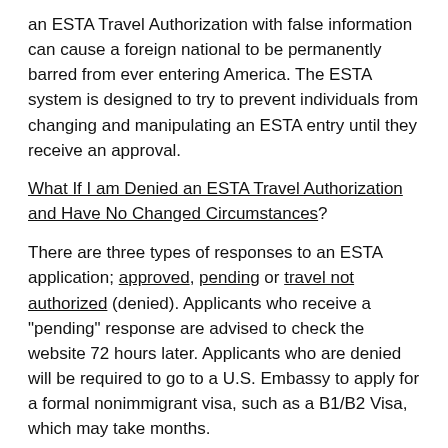an ESTA Travel Authorization with false information can cause a foreign national to be permanently barred from ever entering America. The ESTA system is designed to try to prevent individuals from changing and manipulating an ESTA entry until they receive an approval.
What If I am Denied an ESTA Travel Authorization and Have No Changed Circumstances?
There are three types of responses to an ESTA application; approved, pending or travel not authorized (denied). Applicants who receive a "pending" response are advised to check the website 72 hours later. Applicants who are denied will be required to go to a U.S. Embassy to apply for a formal nonimmigrant visa, such as a B1/B2 Visa, which may take months.